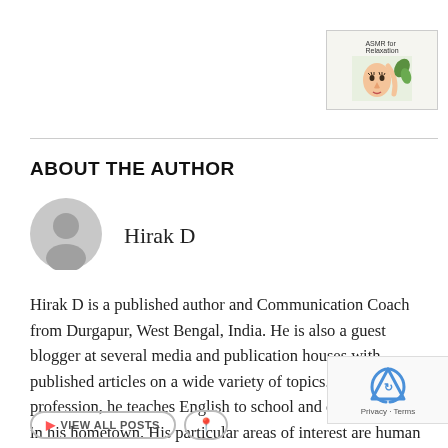[Figure (illustration): ASMR for Relaxation thumbnail image with face illustration]
ABOUT THE AUTHOR
[Figure (illustration): Generic grey user avatar/profile placeholder icon]
Hirak D
Hirak D is a published author and Communication Coach from Durgapur, West Bengal, India. He is also a guest blogger at several media and publication houses with published articles on a wide variety of topics. As part of his profession, he teaches English to school and college students in his hometown. His particular areas of interest are human behavioral studies and the human oriented technology interface